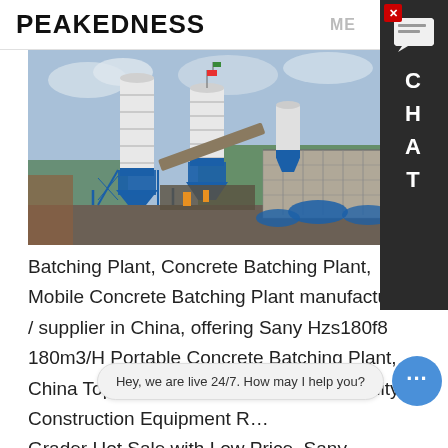PEAKEDNESS
[Figure (photo): Industrial concrete batching plant with tall white and blue cylindrical silos, blue steel framework structures, conveyors, and equipment in an outdoor setting with trees and cloudy sky in background.]
Batching Plant, Concrete Batching Plant, Mobile Concrete Batching Plant manufacturer / supplier in China, offering Sany Hzs180f8 180m3/H Portable Concrete Batching Plant, China Top Brand Sany Stg170 Good Quality Construction Equipment R... Grader Hot Sale with Low Price, Sany